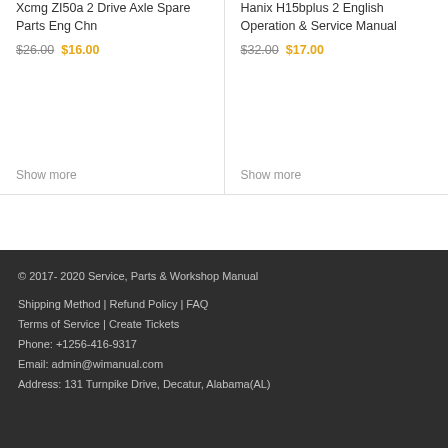Xcmg ZI50a 2 Drive Axle Spare Parts Eng Chn
$26.00 $16.00
Show more
Hanix H15bplus 2 English Operation & Service Manual
$32.00 $17.00
Show more
© 2017- 2020 Service, Parts & Workshop Manual
Shipping Method | Refund Policy | FAQ
Terms of Service | Create Tickets
Phone: +1256-416-9317
Email: admin@wimanual.com
Address: 131 Turnpike Drive, Decatur, Alabama(AL)